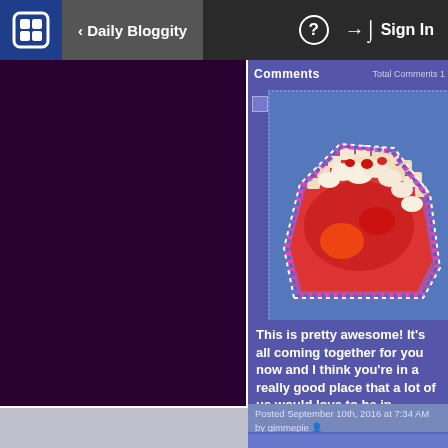< Daily Bloggity   ? Sign In
Comments   Total Comments 1
[Figure (illustration): Pixel art image of a slice of pie with red filling and cream-colored lattice crust on a blue background, outlined in blue and pink/purple dotted border]
This is pretty awesome! It's all coming together for you now and I think you're in a really good place that a lot of us would love to be in.
Posted September 10th, 2016 at 7:34 AM by gimmepie